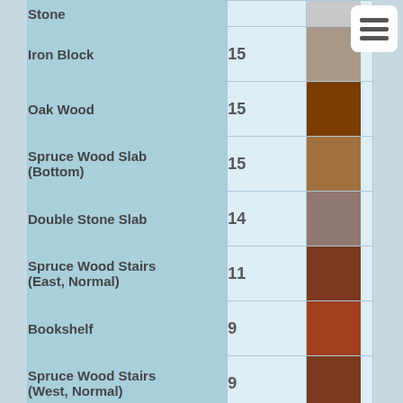| Block Name | Value | Color |
| --- | --- | --- |
| Stone | 15 |  |
| Iron Block | 15 |  |
| Oak Wood | 15 |  |
| Spruce Wood Slab (Bottom) | 15 |  |
| Double Stone Slab | 14 |  |
| Spruce Wood Stairs (East, Normal) | 11 |  |
| Bookshelf | 9 |  |
| Spruce Wood Stairs (West, Normal) | 9 |  |
| Spruce Wood Stairs (West, Upside-down) | 8 |  |
| Spruce Wood Stairs (North, Upside-down) | 6 |  |